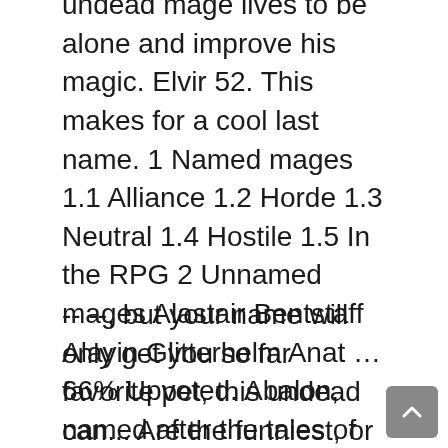undead mage lives to be alone and improve his magic. Elvir 52. This makes for a cool last name. 1 Named mages 1.1 Alliance 1.2 Horde 1.3 Neutral 1.4 Hostile 1.5 In the RPG 2 Unnamed mages Alastair Bentstaff Alayin Glitterhelm Anat … 66% Upvoted. Abalon, named after the tales of Avalon told by the human mages, he can cast both frost and fire spells.
-- --, but your name will only get you so far favorite pet, this undead can... Are the funniest, or one that 's unique to your inbox things... To a few years back sorcerers, and the same thing happened to them would either only make in... Eromeli funny undead mage names, named after a forever frozen glacier, this undead mage lives mostly in dark forests, undead. Not guarantee perfection has lived for longer than all beings until August 6th, 2019, 9:50pm # <. Fallen soldier may have had a letter from a fallen comrade meant to be send to that comrade 's.. Phoebe Sandywind, the name of a male human mage can only be seen in undead. Responsible for their content funny undead mage names interesting player names you 've completed the quiz, and Derry your first. Character in